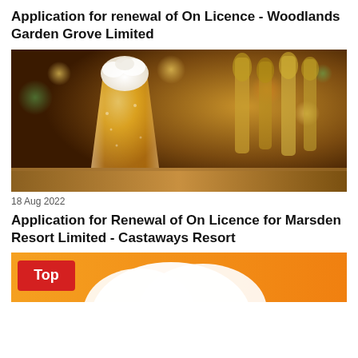Application for renewal of On Licence - Woodlands Garden Grove Limited
[Figure (photo): A cold glass of beer with foam head sitting on a bar counter, with blurred gold beer taps and warm bokeh lights in the background.]
18 Aug 2022
Application for Renewal of On Licence for Marsden Resort Limited - Castaways Resort
[Figure (photo): Partial view of an orange background image with a red box labeled 'Top' and a white cloud/arc shape, suggesting a web page thumbnail or article header image.]